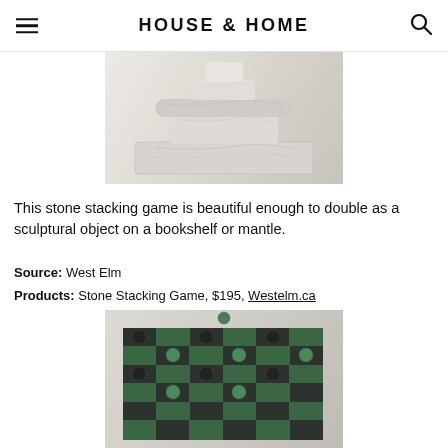HOUSE & HOME
[Figure (photo): Marble stone stacking game blocks arranged on a light beige background, showing multiple rectangular marble pieces with grey veining]
This stone stacking game is beautiful enough to double as a sculptural object on a bookshelf or mantle.
Source: West Elm
Products: Stone Stacking Game, $195, Westelm.ca
[Figure (photo): Green and black marble checkers board game viewed from above, with circular marble game pieces arranged on a checkered pattern board]